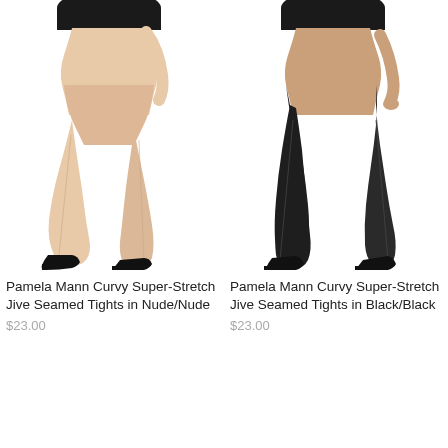[Figure (photo): Model wearing nude/skin-tone sheer tights with black high heels, cropped at torso, white background]
Pamela Mann Curvy Super-Stretch Jive Seamed Tights in Nude/Nude
$23.00
[Figure (photo): Model wearing black sheer tights with black high heels, cropped at torso, white background]
Pamela Mann Curvy Super-Stretch Jive Seamed Tights in Black/Black
$23.00